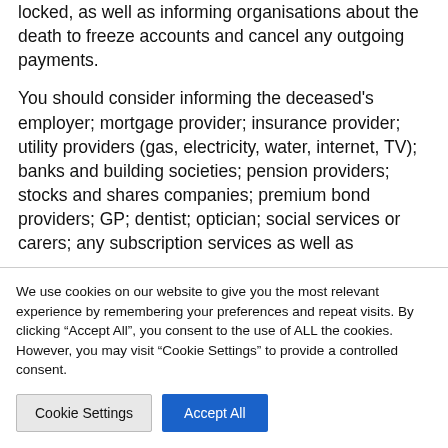locked, as well as informing organisations about the death to freeze accounts and cancel any outgoing payments.
You should consider informing the deceased's employer; mortgage provider; insurance provider; utility providers (gas, electricity, water, internet, TV); banks and building societies; pension providers; stocks and shares companies; premium bond providers; GP; dentist; optician; social services or carers; any subscription services as well as
We use cookies on our website to give you the most relevant experience by remembering your preferences and repeat visits. By clicking "Accept All", you consent to the use of ALL the cookies. However, you may visit "Cookie Settings" to provide a controlled consent.